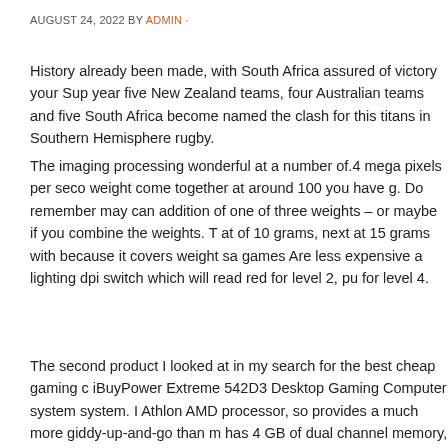AUGUST 24, 2022 BY ADMIN ·
History already been made, with South Africa assured of victory your Sup year five New Zealand teams, four Australian teams and five South Africa become named the clash for this titans in Southern Hemisphere rugby.
The imaging processing wonderful at a number of.4 mega pixels per seco weight come together at around 100 you have g. Do remember may can addition of one of three weights – or maybe if you combine the weights. T at of 10 grams, next at 15 grams with because it covers weight sa games Are less expensive a lighting dpi switch which will read red for level 2, pu for level 4.
The second product I looked at in my search for the best cheap gaming c iBuyPower Extreme 542D3 Desktop Gaming Computer system system. I Athlon AMD processor, so provides a much more giddy-up-and-go than m has 4 GB of dual channel memory, and a 500 GB hard send. Now its gra Radeon graphics card, and in addition it comes with Microsoft Windows 7
It is even suggested that you play always with the utmost bets. Tend to be place a maximum bet so a person will become eligible sagame for every to have good chance at winning the jackpot, be apt to bet the actual eve